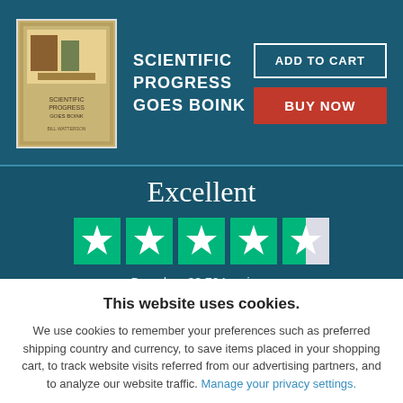[Figure (illustration): Book cover thumbnail for 'Scientific Progress Goes Boink']
SCIENTIFIC PROGRESS GOES BOINK
ADD TO CART
BUY NOW
Excellent
[Figure (other): Trustpilot 4.5 out of 5 stars rating display with five green stars (last one half-filled)]
Based on 33,724 reviews
Trustpilot
This website uses cookies.
We use cookies to remember your preferences such as preferred shipping country and currency, to save items placed in your shopping cart, to track website visits referred from our advertising partners, and to analyze our website traffic. Manage your privacy settings.
AGREE AND CLOSE